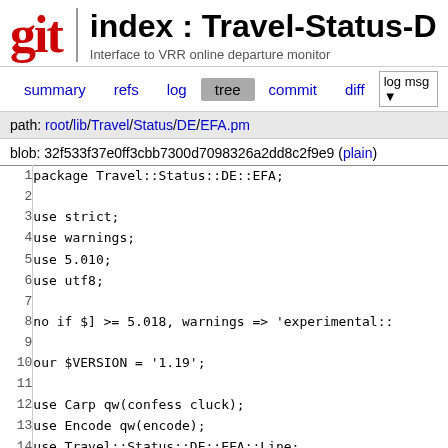git  index : Travel-Status-D  Interface to VRR online departure monitor
summary  refs  log  tree  commit  diff  log msg
path: root/lib/Travel/Status/DE/EFA.pm
blob: 32f533f37e0ff3cbb7300d7098326a2dd8c2f9e9 (plain)
1  package Travel::Status::DE::EFA;
2
3  use strict;
4  use warnings;
5  use 5.010;
6  use utf8;
7
8  no if $] >= 5.018, warnings => 'experimental::
9
10  our $VERSION = '1.19';
11
12  use Carp qw(confess cluck);
13  use Encode qw(encode);
14  use Travel::Status::DE::EFA::Line;
15  use Travel::Status::DE::EFA::Result;
16  use Travel::Status::DE::EFA::Stop;
17  use LWP::UserAgent;